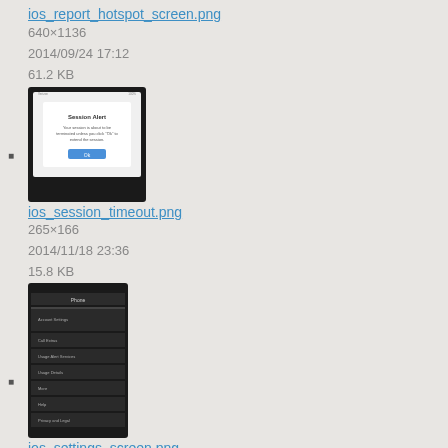ios_report_hotspot_screen.png
640×1136
2014/09/24 17:12
61.2 KB
[Figure (screenshot): Thumbnail screenshot of ios_report_hotspot_screen.png]
ios_session_timeout.png
265×166
2014/11/18 23:36
15.8 KB
[Figure (screenshot): Thumbnail screenshot of ios_session_timeout.png showing a settings-like screen on a mobile device]
ios_settings_screen.png
1242×2208
2019/04/01 09:14
218.8 KB
[Figure (screenshot): Thumbnail screenshot of ios_settings_screen.png showing a dark screen with a circular gauge]